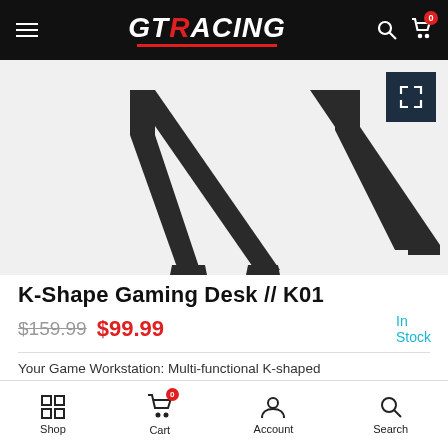GTRACING
[Figure (photo): Product image showing K-shape gaming desk legs/frame in dark gray on white background, with an expand/fullscreen button in top right corner]
K-Shape Gaming Desk // K01
$159.99  $99.99  In Stock
Your Game Workstation: Multi-functional K-shaped
Shop  Cart  Account  Search